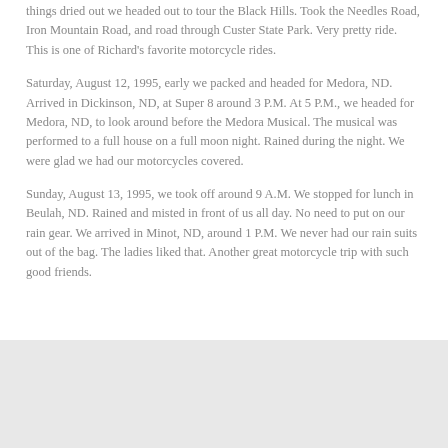things dried out we headed out to tour the Black Hills. Took the Needles Road, Iron Mountain Road, and road through Custer State Park. Very pretty ride. This is one of Richard's favorite motorcycle rides.
Saturday, August 12, 1995, early we packed and headed for Medora, ND. Arrived in Dickinson, ND, at Super 8 around 3 P.M. At 5 P.M., we headed for Medora, ND, to look around before the Medora Musical. The musical was performed to a full house on a full moon night. Rained during the night. We were glad we had our motorcycles covered.
Sunday, August 13, 1995, we took off around 9 A.M. We stopped for lunch in Beulah, ND. Rained and misted in front of us all day. No need to put on our rain gear. We arrived in Minot, ND, around 1 P.M. We never had our rain suits out of the bag. The ladies liked that. Another great motorcycle trip with such good friends.